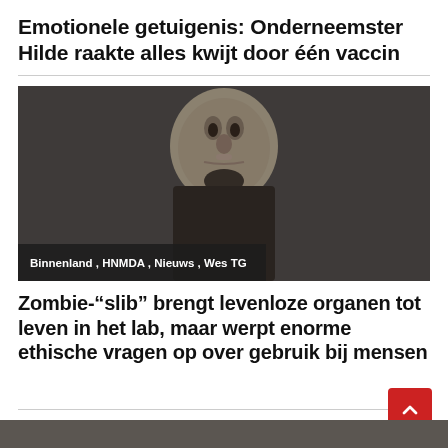Emotionele getuigenis: Onderneemster Hilde raakte alles kwijt door één vaccin
[Figure (photo): Close-up photo of a pale, zombie-like man with his face tilted upward and mouth slightly open, against a dark background. Overlay bar at bottom reads: Binnenland , HNMDA , Nieuws , Wes TG]
Binnenland , HNMDA , Nieuws , Wes TG
Zombie-"slib" brengt levenloze organen tot leven in het lab, maar werpt enorme ethische vragen op over gebruik bij mensen